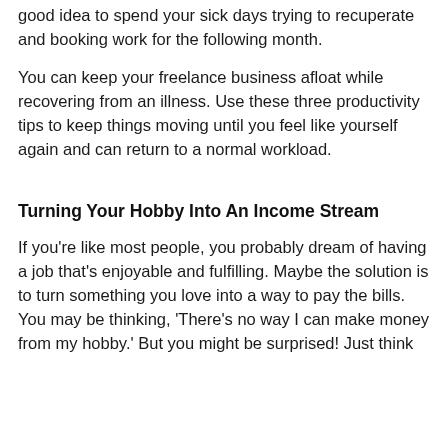good idea to spend your sick days trying to recuperate and booking work for the following month.
You can keep your freelance business afloat while recovering from an illness. Use these three productivity tips to keep things moving until you feel like yourself again and can return to a normal workload.
Turning Your Hobby Into An Income Stream
If you're like most people, you probably dream of having a job that's enjoyable and fulfilling. Maybe the solution is to turn something you love into a way to pay the bills. You may be thinking, 'There's no way I can make money from my hobby.' But you might be surprised! Just think how rewarding it would be if you could turn your passion from a hobby into a career.